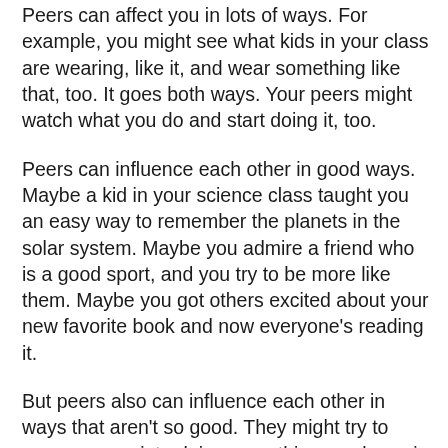Peers can affect you in lots of ways. For example, you might see what kids in your class are wearing, like it, and wear something like that, too. It goes both ways. Your peers might watch what you do and start doing it, too.
Peers can influence each other in good ways. Maybe a kid in your science class taught you an easy way to remember the planets in the solar system. Maybe you admire a friend who is a good sport, and you try to be more like them. Maybe you got others excited about your new favorite book and now everyone's reading it.
But peers also can influence each other in ways that aren't so good. They might try to pressure you into doing something you know is wrong. For example, what if a few kids in school try to get you to cut class with them? What if your soccer teammate tries to